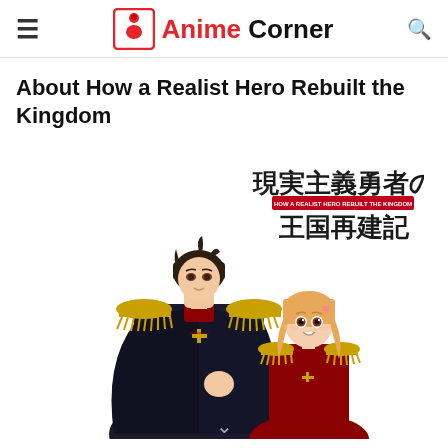Anime Corner
About How a Realist Hero Rebuilt the Kingdom
[Figure (illustration): Anime key visual for 'How a Realist Hero Rebuilt the Kingdom' (Genjitsu Shugi Yuusha no Oukoku Saikenki) showing two main characters: a dark-haired male in black military uniform with gold epaulettes and cross emblem, and a blonde female in red military uniform. Japanese title text visible in upper right.]